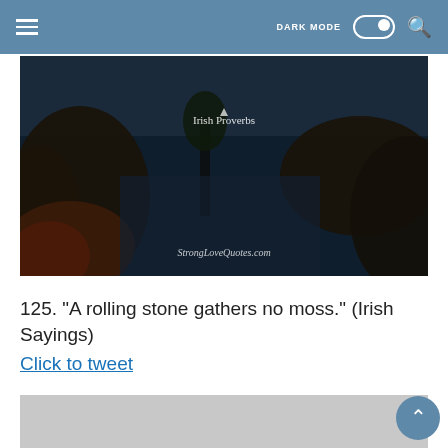DARK MODE [toggle] [search]
[Figure (photo): Dark nature landscape photo with text 'Irish Proverbs' and watermark 'StrongLoveQuotes.com']
125. "A rolling stone gathers no moss." (Irish Sayings)
Click to tweet
[Figure (photo): Bottom partially visible gray image placeholder]